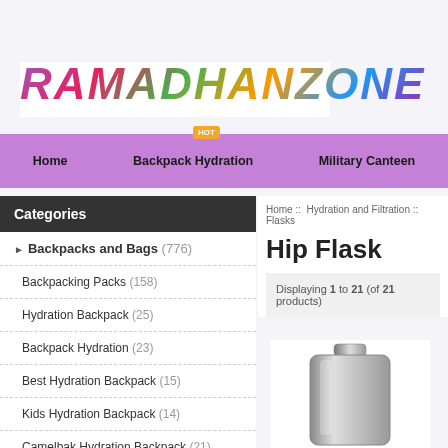[Figure (logo): RAMADHANZONE logo in colorful patterned text]
Home  Backpack Hydration  Military Canteen
Categories
Backpacks and Bags (776)
Backpacking Packs (158)
Hydration Backpack (25)
Backpack Hydration (23)
Best Hydration Backpack (15)
Kids Hydration Backpack (14)
Camelbak Hydration Backpack (21)
Hiking Hydration Backpack (25)
Home :: Hydration and Filtration :: Flasks
Hip Flask
Displaying 1 to 21 (of 21 products)
[Figure (photo): Stainless steel hip flask product photo]